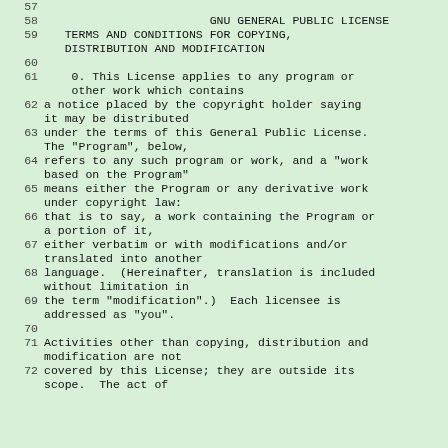57
58                         GNU GENERAL PUBLIC LICENSE
59    TERMS AND CONDITIONS FOR COPYING, DISTRIBUTION AND MODIFICATION
60
61     0. This License applies to any program or other work which contains
62 a notice placed by the copyright holder saying it may be distributed
63 under the terms of this General Public License. The "Program", below,
64 refers to any such program or work, and a "work based on the Program"
65 means either the Program or any derivative work under copyright law:
66 that is to say, a work containing the Program or a portion of it,
67 either verbatim or with modifications and/or translated into another
68 language.  (Hereinafter, translation is included without limitation in
69 the term "modification".)  Each licensee is addressed as "you".
70
71 Activities other than copying, distribution and modification are not
72 covered by this License; they are outside its scope.  The act of